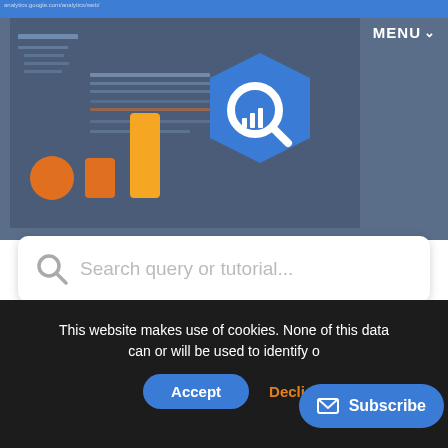[Figure (screenshot): Google Analytics 4 logo with bar chart icon in orange/yellow and blue hexagon with magnifying glass, overlaid on a dark blue/grey website screenshot background with MENU dropdown]
[Figure (screenshot): Search bar with placeholder text 'Search query or tutorial...' on white rounded rectangle]
Tutorial: How to customise the default engaged session definition (GA4)
Home / GA4 | tutorials /
[Figure (infographic): Social sharing icons: Twitter bird, Facebook f, envelope/mail, printer]
This website makes use of cookies. None of this data can or will be used to identify o...
Accept
Decline
Subscribe